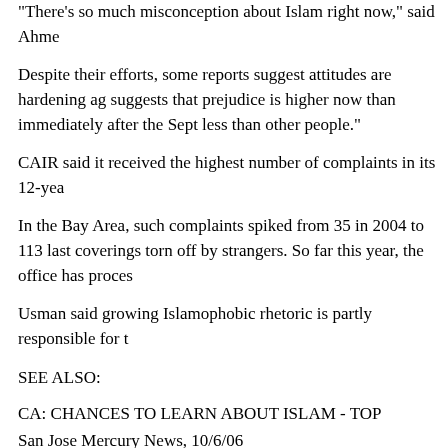"There's so much misconception about Islam right now," said Ahme
Despite their efforts, some reports suggest attitudes are hardening ag… suggests that prejudice is higher now than immediately after the Sept… less than other people."
CAIR said it received the highest number of complaints in its 12-yea
In the Bay Area, such complaints spiked from 35 in 2004 to 113 last… coverings torn off by strangers. So far this year, the office has proces
Usman said growing Islamophobic rhetoric is partly responsible for t
SEE ALSO:
CA: CHANCES TO LEARN ABOUT ISLAM - TOP
San Jose Mercury News, 10/6/06
http://www.mercurynews.com/mld/mercurynews/news/local/156935
Bay Area mosques are hosting open houses during Ramadan, Islam's… Ramadan events, organizers ask that guests RSVP at http://www.myv
Saturday, Oct. 7
Muslim Community Association, 3003 Scott Blvd., Santa Clara, Reg,